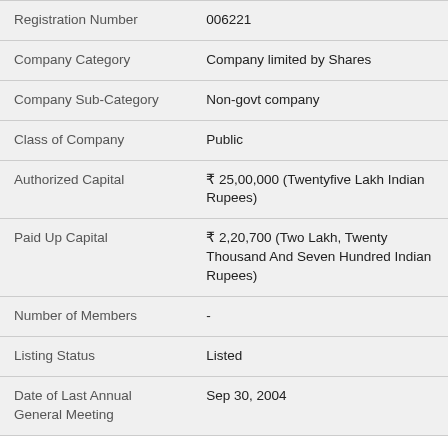| Field | Value |
| --- | --- |
| Registration Number | 006221 |
| Company Category | Company limited by Shares |
| Company Sub-Category | Non-govt company |
| Class of Company | Public |
| Authorized Capital | ₹ 25,00,000 (Twentyfive Lakh Indian Rupees) |
| Paid Up Capital | ₹ 2,20,700 (Two Lakh, Twenty Thousand And Seven Hundred Indian Rupees) |
| Number of Members | - |
| Listing Status | Listed |
| Date of Last Annual General Meeting | Sep 30, 2004 |